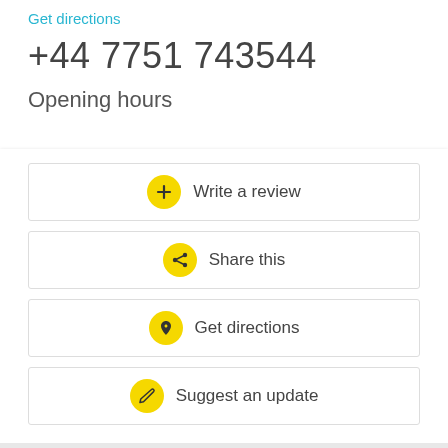Get directions
+44 7751 743544
Opening hours
Write a review
Share this
Get directions
Suggest an update